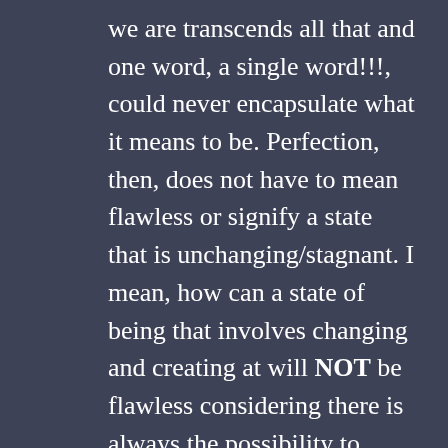we are transcends all that and one word, a single word!!!, could never encapsulate what it means to be. Perfection, then, does not have to mean flawless or signify a state that is unchanging/stagnant. I mean, how can a state of being that involves changing and creating at will NOT be flawless considering there is always the possibility to change or create something else? But one has to learn to become more and more aware of the self, of the state, of how to change in certain ways and what those changes mean, etc. And it doesn't have to be a